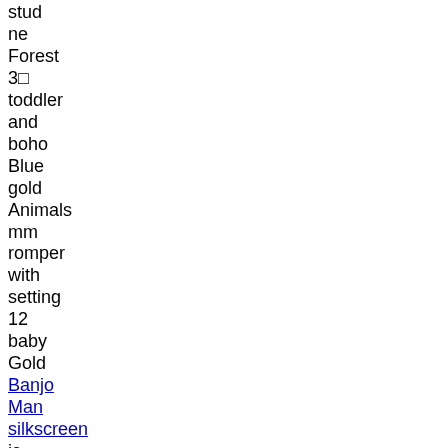stud
ne
Forest
3□
toddler
and
boho
Blue
gold
Animals
mm
romper
with
setting
12
baby
Gold
Banjo
Man
silkscreen
is
customers
let
77CM
around